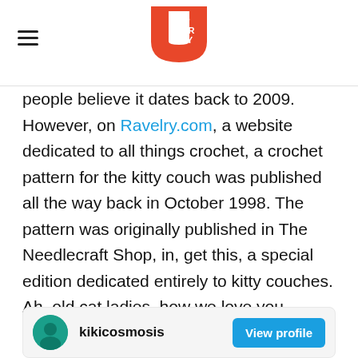Upworthy
people believe it dates back to 2009. However, on Ravelry.com, a website dedicated to all things crochet, a crochet pattern for the kitty couch was published all the way back in October 1998. The pattern was originally published in The Needlecraft Shop, in, get this, a special edition dedicated entirely to kitty couches. Ah, old cat ladies, how we love you.
kikicosmosis  View profile